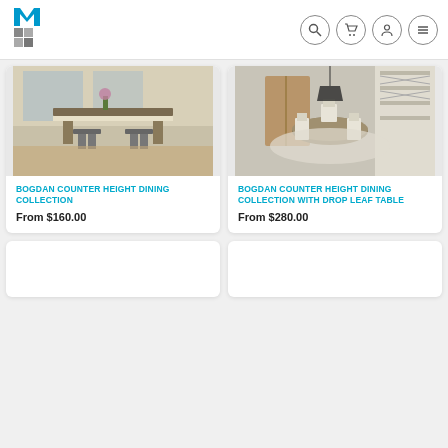[Figure (logo): Furniture store logo with stylized 'M' in blue and gray tones]
[Figure (screenshot): Navigation icons: search, cart, user, menu (hamburger)]
[Figure (photo): Bogdan Counter Height Dining Collection – white counter table with stools]
BOGDAN COUNTER HEIGHT DINING COLLECTION
From $160.00
[Figure (photo): Bogdan Counter Height Dining Collection with Drop Leaf Table – round table with chairs and shelving unit]
BOGDAN COUNTER HEIGHT DINING COLLECTION WITH DROP LEAF TABLE
From $280.00